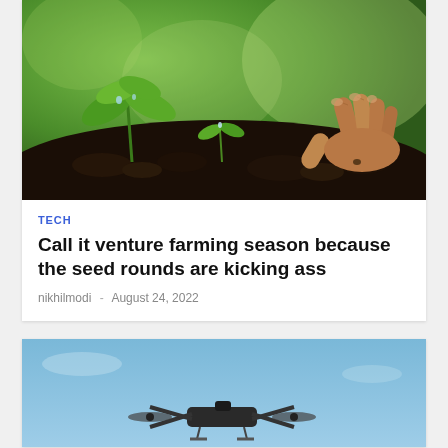[Figure (photo): Close-up photo of seedlings growing from dark soil with a hand planting a seed, green bokeh background]
TECH
Call it venture farming season because the seed rounds are kicking ass
nikhilmodi - August 24, 2022
[Figure (photo): Photo of a drone flying against a blue sky background]